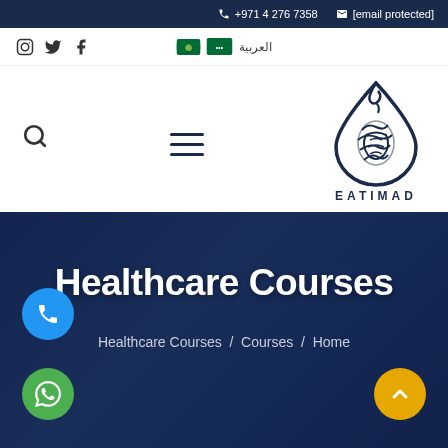+971 4 276 7358   [email protected]
[Figure (screenshot): Social media icons (Instagram, Twitter, Facebook) and Arabic language selector with Saudi flag]
[Figure (logo): EATIMAD logo - Arabic calligraphy droplet shape in navy blue with text EATIMAD below]
Healthcare Courses
Healthcare Courses / Courses / Home